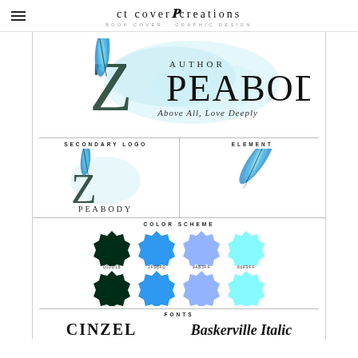ct cover creations — BOOK COVER & GRAPHIC DESIGN
[Figure (logo): Main author logo: large 'Z' with blue feather watercolor, 'AUTHOR PEABODY' text and tagline 'Above All, Love Deeply']
SECONDARY LOGO
[Figure (logo): Secondary logo: 'Z' with blue feather and 'PEABODY' text below]
ELEMENT
[Figure (illustration): Blue feather element standalone]
COLOR SCHEME
[Figure (infographic): Four star/badge color swatches: 002D18 (dark green), 2F98F0 (blue), 94B3FF (lavender), 86F9FF (cyan)]
FONTS
CINZEL
Baskerville Italic